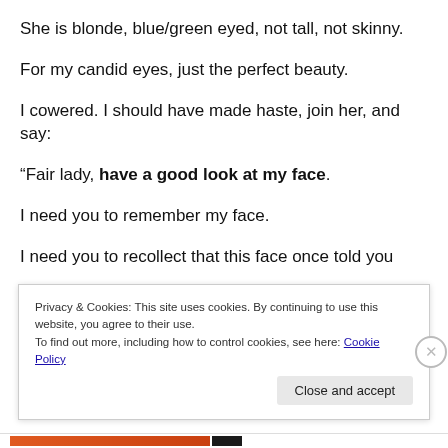She is blonde, blue/green eyed, not tall, not skinny.
For my candid eyes, just the perfect beauty.
I cowered. I should have made haste, join her, and say:
“Fair lady, have a good look at my face.
I need you to remember my face.
I need you to recollect that this face once told you
“You are the most beautiful girl around…”
Privacy & Cookies: This site uses cookies. By continuing to use this website, you agree to their use.
To find out more, including how to control cookies, see here: Cookie Policy
Close and accept